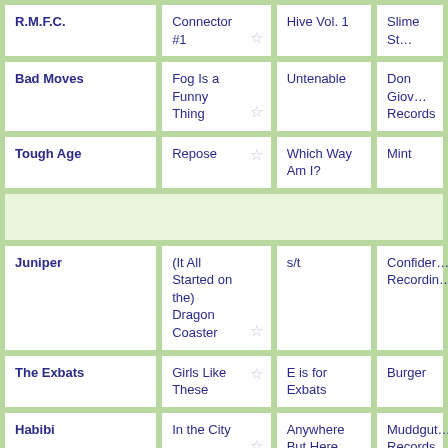| Artist | Album | Vinyl | Label |
| --- | --- | --- | --- |
| R.M.F.C. | Connector #1 ☆ | Hive Vol. 1 | Slime St… |
| Bad Moves | Fog Is a Funny Thing ☆ | Untenable | Don Giov… Records |
| Tough Age | Repose ☆ | Which Way Am I? | Mint |
|  |  |  |  |
| Juniper | (It All Started on the) Dragon Coaster ☆ | s/t | Confiden… Recordin… |
| The Exbats | Girls Like These ☆ | E is for Exbats | Burger |
| Habibi | In the City ☆ | Anywhere But Here | Muddgut… Records |
| The Fore Thoughts | The Boat Man's Cry ☆ | various - Pakistan: Folk and Pop Instrumentals | Sublime Frequen… |